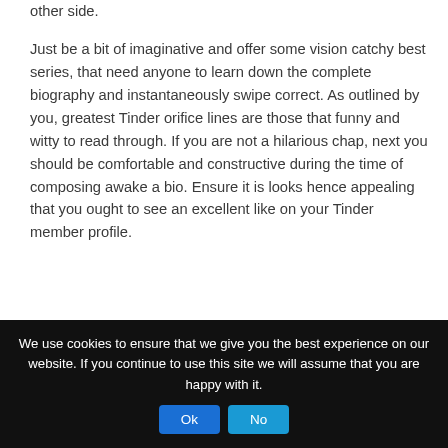other side.
Just be a bit of imaginative and offer some vision catchy best series, that need anyone to learn down the complete biography and instantaneously swipe correct. As outlined by you, greatest Tinder orifice lines are those that funny and witty to read through. If you are not a hilarious chap, next you should be comfortable and constructive during the time of composing awake a bio. Ensure it is looks hence appealing that you ought to see an excellent like on your Tinder member profile.
Just remember, that exactly what may help myself, might not assist everyone else. Tinder starting contours rely upon the location, growth, while the individual personality and
We use cookies to ensure that we give you the best experience on our website. If you continue to use this site we will assume that you are happy with it.